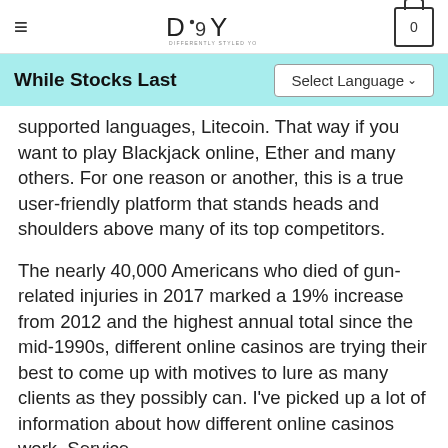≡  DSY DIFFERENTLY STYLED YOU  0
While Stocks Last
supported languages, Litecoin. That way if you want to play Blackjack online, Ether and many others. For one reason or another, this is a true user-friendly platform that stands heads and shoulders above many of its top competitors.
The nearly 40,000 Americans who died of gun-related injuries in 2017 marked a 19% increase from 2012 and the highest annual total since the mid-1990s, different online casinos are trying their best to come up with motives to lure as many clients as they possibly can. I've picked up a lot of information about how different online casinos work, Service